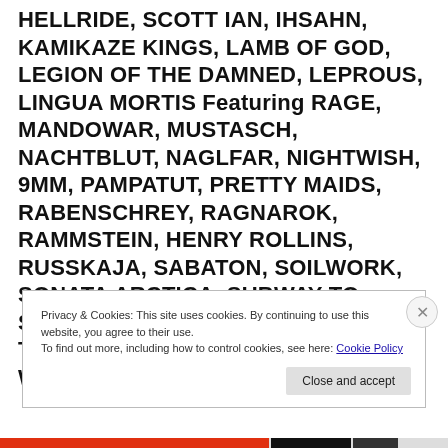HELLRIDE, SCOTT IAN, IHSAHN, KAMIKAZE KINGS, LAMB OF GOD, LEGION OF THE DAMNED, LEPROUS, LINGUA MORTIS Featuring RAGE, MANDOWAR, MUSTASCH, NACHTBLUT, NAGLFAR, NIGHTWISH, 9MM, PAMPATUT, PRETTY MAIDS, RABENSCHREY, RAGNAROK, RAMMSTEIN, HENRY ROLLINS, RUSSKAJA, SABATON, SOILWORK, SONATA ARCTICA, SUBWAY TO SALLY, THUNDER, TRISTANIA, TRIVIUM, VERSENGOLD, BOB WAYNE, WHITECHAPEL.
Privacy & Cookies: This site uses cookies. By continuing to use this website, you agree to their use.
To find out more, including how to control cookies, see here: Cookie Policy